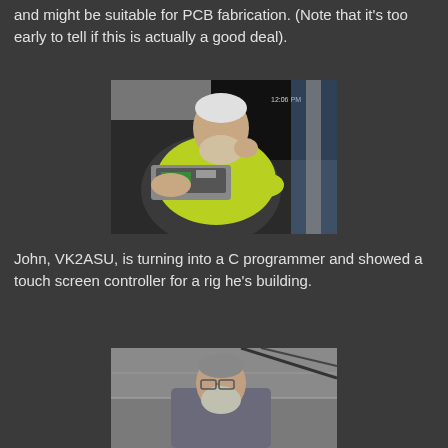and might be suitable for PCB fabrication. (Note that it's too early to tell if this is actually a good deal).
[Figure (photo): Man in yellow high-visibility shirt holding electronic equipment/device, examining it closely. Clock visible in background showing 12:06.]
John, VK2ASU, is turning into a C programmer and showed a touch screen controller for a rig he's building.
[Figure (photo): Man with grey beard and glasses, wearing a grey shirt, standing outdoors or near a building.]